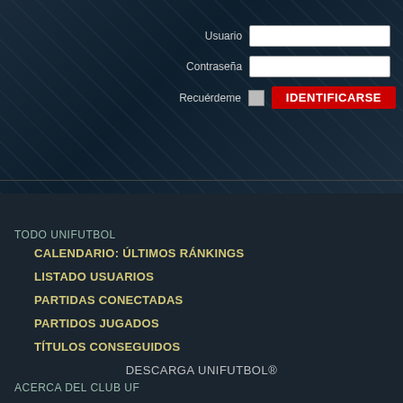[Figure (screenshot): Website login area with dark background showing stadium/city graphic]
Usuario
Contraseña
Recuérdeme
IDENTIFICARSE
REGÍSTRATE
TODO UNIFUTBOL
CALENDARIO: ÚLTIMOS RÁNKINGS
LISTADO USUARIOS
PARTIDAS CONECTADAS
PARTIDOS JUGADOS
TÍTULOS CONSEGUIDOS
DESCARGA UNIFUTBOL®
ACERCA DEL CLUB UF
PRÓXIMAMENTE EN EL CLUB..
PREGUNTAS FRECUENTES
HISTORIAL DE CAMBIOS
TÉRMINOS Y CONDICIONES